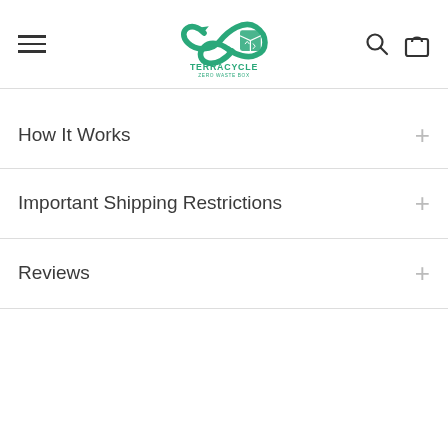TerraCycle Zero Waste Box — navigation header with hamburger menu, logo, search, and cart icons
How It Works
Important Shipping Restrictions
Reviews